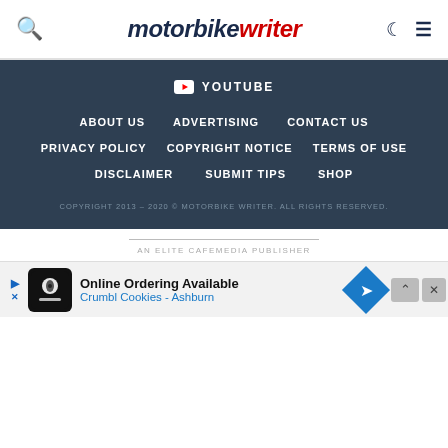motorbike writer — header navigation with search, moon/dark mode, and menu icons
YOUTUBE
ABOUT US
ADVERTISING
CONTACT US
PRIVACY POLICY
COPYRIGHT NOTICE
TERMS OF USE
DISCLAIMER
SUBMIT TIPS
SHOP
COPYRIGHT 2013 – 2020 © MOTORBIKE WRITER. ALL RIGHTS RESERVED.
AN ELITE CAFEMEDIA PUBLISHER
[Figure (screenshot): Advertisement banner: Online Ordering Available — Crumbl Cookies – Ashburn]